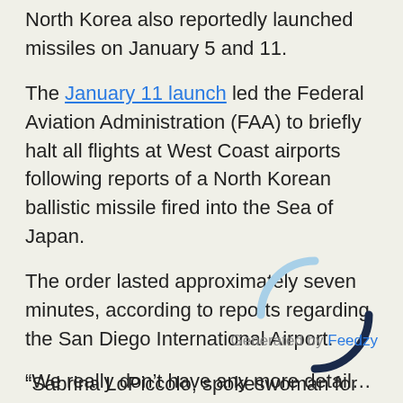North Korea also reportedly launched missiles on January 5 and 11.
The January 11 launch led the Federal Aviation Administration (FAA) to briefly halt all flights at West Coast airports following reports of a North Korean ballistic missile fired into the Sea of Japan.
The order lasted approximately seven minutes, according to reports regarding the San Diego International Airport.
“Sabrina LoPiccolo, spokeswoman for the airport, told Newsweek that the airport was instructed by air traffic of a national ground stop about 2:30 p.m. Pacific time. No reason was given for the stop, which lasted about five to seven minutes, she said,” Newsweek reported.
Generated by Feedzy
“We really don’t have any more details,” she said